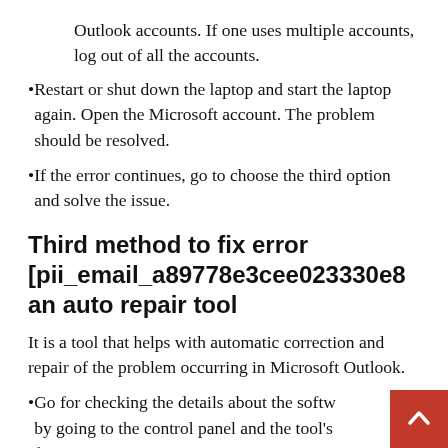Outlook accounts. If one uses multiple accounts, log out of all the accounts.
Restart or shut down the laptop and start the laptop again. Open the Microsoft account. The problem should be resolved.
If the error continues, go to choose the third option and solve the issue.
Third method to fix error [pii_email_a89778e3cee023330e8 an auto repair tool
It is a tool that helps with automatic correction and repair of the problem occurring in Microsoft Outlook.
Go for checking the details about the softw by going to the control panel and the tool's function setup.